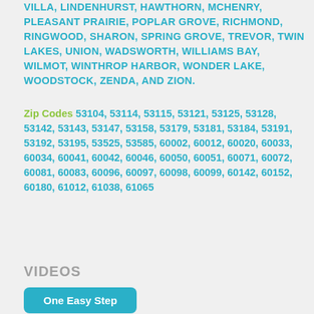VILLA, LINDENHURST, HAWTHORN, MCHENRY, PLEASANT PRAIRIE, POPLAR GROVE, RICHMOND, RINGWOOD, SHARON, SPRING GROVE, TREVOR, TWIN LAKES, UNION, WADSWORTH, WILLIAMS BAY, WILMOT, WINTHROP HARBOR, WONDER LAKE, WOODSTOCK, ZENDA, AND ZION.
Zip Codes 53104, 53114, 53115, 53121, 53125, 53128, 53142, 53143, 53147, 53158, 53179, 53181, 53184, 53191, 53192, 53195, 53525, 53585, 60002, 60012, 60020, 60033, 60034, 60041, 60042, 60046, 60050, 60051, 60071, 60072, 60081, 60083, 60096, 60097, 60098, 60099, 60142, 60152, 60180, 61012, 61038, 61065
VIDEOS